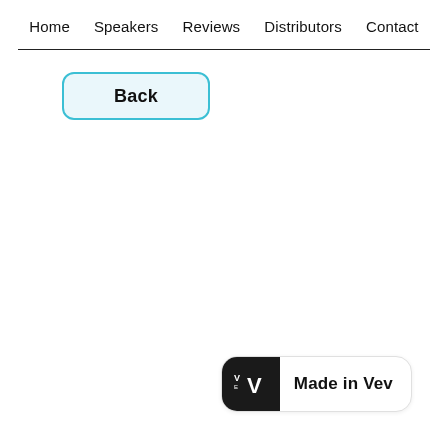Home  Speakers  Reviews  Distributors  Contact
Back
[Figure (logo): Made in Vev badge with a black square containing a stylized V logo on the left and 'Made in Vev' text on the right, in a rounded rectangle.]